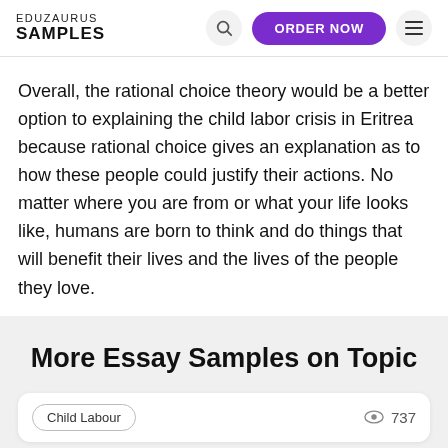EDUZAURUS SAMPLES
Overall, the rational choice theory would be a better option to explaining the child labor crisis in Eritrea because rational choice gives an explanation as to how these people could justify their actions. No matter where you are from or what your life looks like, humans are born to think and do things that will benefit their lives and the lives of the people they love.
More Essay Samples on Topic
Child Labour  737